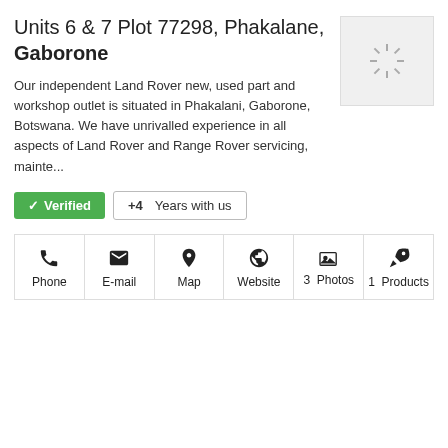Units 6 & 7 Plot 77298, Phakalane, Gaborone
Our independent Land Rover new, used part and workshop outlet is situated in Phakalani, Gaborone, Botswana. We have unrivalled experience in all aspects of Land Rover and Range Rover servicing, mainte...
[Figure (other): Loading spinner / placeholder thumbnail image in a light grey box]
Verified  +4 Years with us
Phone  E-mail  Map  Website  3 Photos  1 Products